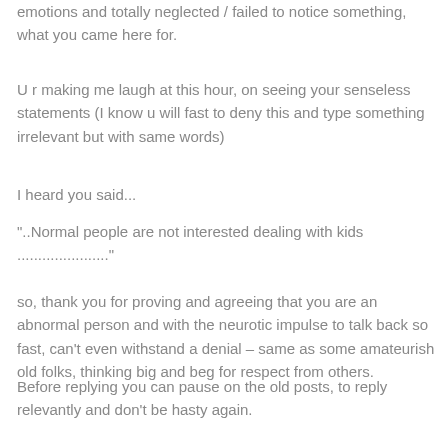emotions and totally neglected / failed to notice something, what you came here for.
U r making me laugh at this hour, on seeing your senseless statements (I know u will fast to deny this and type something irrelevant but with same words)
I heard you said...
"..Normal people are not interested dealing with kids ......................"
so, thank you for proving and agreeing that you are an abnormal person and with the neurotic impulse to talk back so fast, can't even withstand a denial – same as some amateurish old folks, thinking big and beg for respect from others.
Before replying you can pause on the old posts, to reply relevantly and don't be hasty again.
Take care and don't forget to take ur pills, yeah the chill pills.
Have a 'boggling with anger' days.